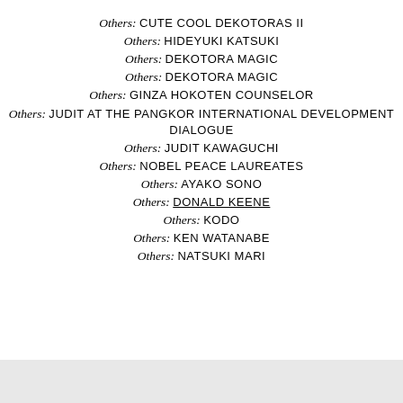Others: CUTE COOL DEKOTORAS II
Others: HIDEYUKI KATSUKI
Others: DEKOTORA MAGIC
Others: DEKOTORA MAGIC
Others: GINZA HOKOTEN COUNSELOR
Others: JUDIT AT THE PANGKOR INTERNATIONAL DEVELOPMENT DIALOGUE
Others: JUDIT KAWAGUCHI
Others: NOBEL PEACE LAUREATES
Others: AYAKO SONO
Others: DONALD KEENE
Others: KODO
Others: KEN WATANABE
Others: NATSUKI MARI